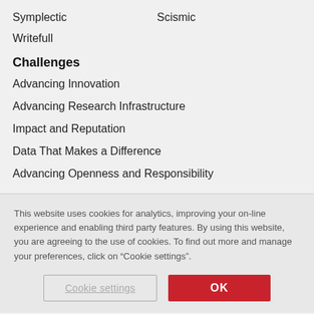Symplectic
Scismic
Writefull
Challenges
Advancing Innovation
Advancing Research Infrastructure
Impact and Reputation
Data That Makes a Difference
Advancing Openness and Responsibility
This website uses cookies for analytics, improving your on-line experience and enabling third party features. By using this website, you are agreeing to the use of cookies. To find out more and manage your preferences, click on “Cookie settings”.